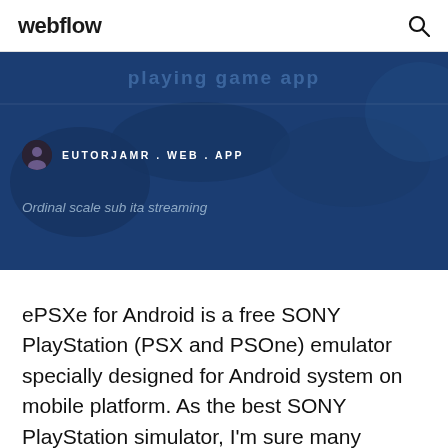webflow
[Figure (screenshot): Hero banner with dark blue background showing partial heading text and world map illustration]
EUTORJAMR.WEB.APP
Ordinal scale sub ita streaming
ePSXe for Android is a free SONY PlayStation (PSX and PSOne) emulator specially designed for Android system on mobile platform. As the best SONY PlayStation simulator, I'm sure many players must be familiar with ePSXe